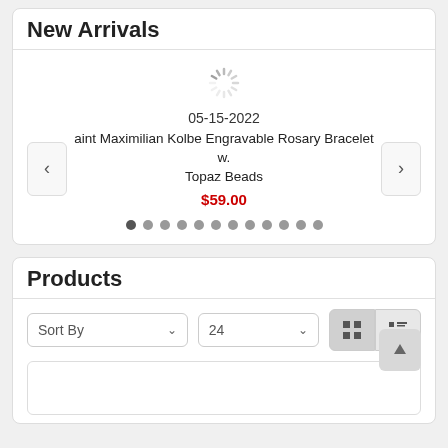New Arrivals
[Figure (other): Loading spinner icon (circular dashed wheel)]
05-15-2022
Saint Maximilian Kolbe Engravable Rosary Bracelet w. Topaz Beads
$59.00
Products
Sort By  24  (grid and list view toggle buttons)